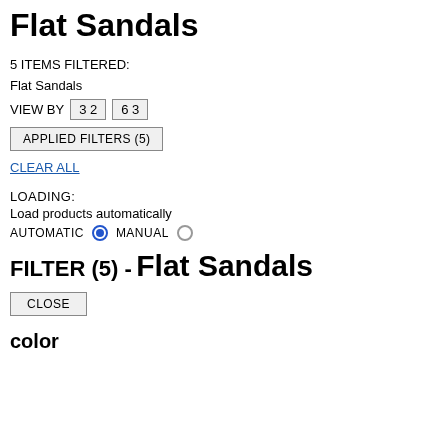Flat Sandals
5 ITEMS FILTERED:
Flat Sandals
VIEW BY  3 2  6 3
APPLIED FILTERS (5)
CLEAR ALL
LOADING:
Load products automatically
AUTOMATIC  MANUAL
FILTER (5)  -
Flat Sandals
CLOSE
color